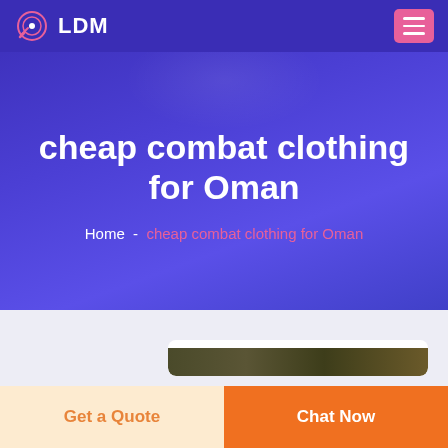LDM
cheap combat clothing for Oman
Home  -  cheap combat clothing for Oman
[Figure (logo): DEEKON brand logo: circular camouflage-patterned ring with D in center, with DEEKON text in red below]
Get a Quote
Chat Now